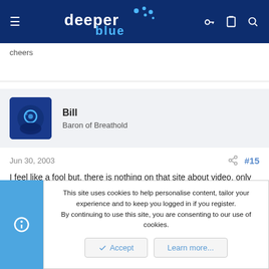deeper blue
cheers
Bill
Baron of Breathold
Jun 30, 2003  #15
I feel like a fool but, there is nothing on that site about video, only static tables under downloads and only a one answer page under Loic. Will you please explain more?
Bill
This site uses cookies to help personalise content, tailor your experience and to keep you logged in if you register.
By continuing to use this site, you are consenting to our use of cookies.
Accept  Learn more...